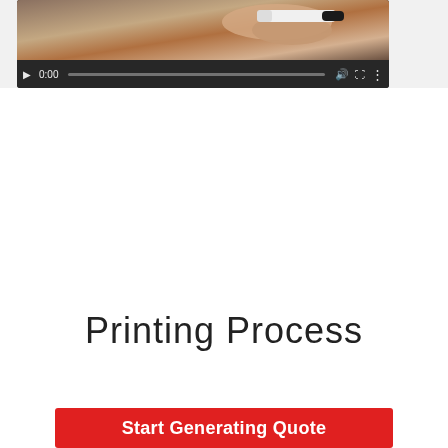[Figure (screenshot): Video player showing a hand holding a marker/pen, with playback controls showing 0:00 timestamp, play button, volume icon, fullscreen icon, and more options icon. Progress bar at bottom.]
Printing Process
Start Generating Quote